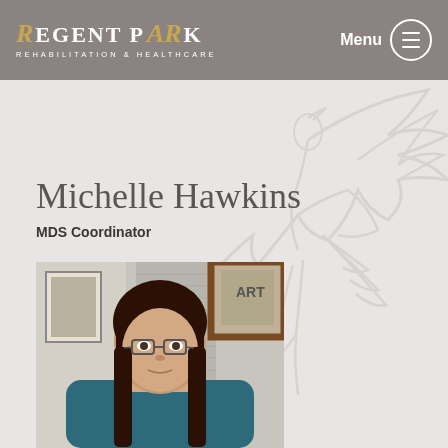Regent Park Rehabilitation & Healthcare
Michelle Hawkins
MDS Coordinator
[Figure (photo): Professional headshot of Michelle Hawkins, a woman with brown hair and glasses, wearing teal scrubs, standing in front of a wall with artwork]